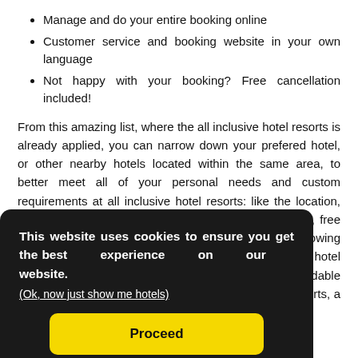Manage and do your entire booking online
Customer service and booking website in your own language
Not happy with your booking? Free cancellation included!
From this amazing list, where the all inclusive hotel resorts is already applied, you can narrow down your prefered hotel, or other nearby hotels located within the same area, to better meet all of your personal needs and custom requirements at all inclusive hotel resorts: like the location, star rating (from … free … owing … hotel … rdable … in all inclusive hotel resorts, a low budget or a 5 star hotel
This website uses cookies to ensure you get the best experience on our website.
(Ok, now just show me hotels)
Proceed